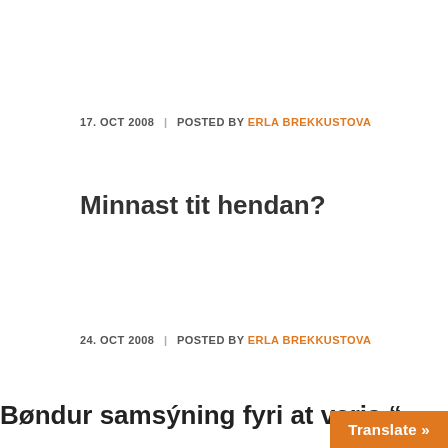17. OCT 2008  |  POSTED BY ERLA BREKKUSTOVA
Minnast tit hendan?
24. OCT 2008  |  POSTED BY ERLA BREKKUSTOVA
Bøndur samsýning fyri at verja "
Translate »